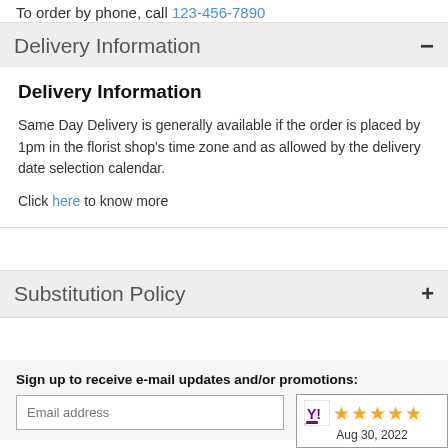To order by phone, call 123-456-7890
Delivery Information
Delivery Information
Same Day Delivery is generally available if the order is placed by 1pm in the florist shop's time zone and as allowed by the delivery date selection calendar.
Click here to know more
Substitution Policy
Sign up to receive e-mail updates and/or promotions:
[Figure (other): 5-star rating badge with Yahoo logo and date Aug 30, 2022]